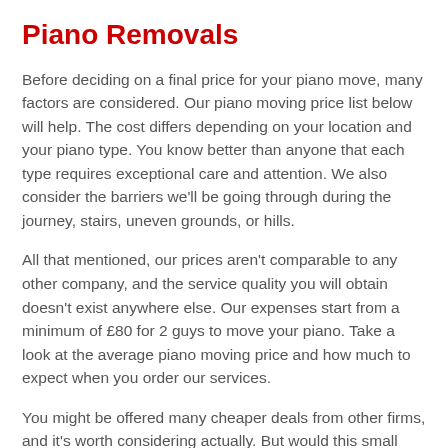Piano Removals
Before deciding on a final price for your piano move, many factors are considered. Our piano moving price list below will help. The cost differs depending on your location and your piano type. You know better than anyone that each type requires exceptional care and attention. We also consider the barriers we'll be going through during the journey, stairs, uneven grounds, or hills.
All that mentioned, our prices aren't comparable to any other company, and the service quality you will obtain doesn't exist anywhere else. Our expenses start from a minimum of £80 for 2 guys to move your piano. Take a look at the average piano moving price and how much to expect when you order our services.
You might be offered many cheaper deals from other firms, and it's worth considering actually. But would this small sum of money you saved do to a big scratch in your piano. How